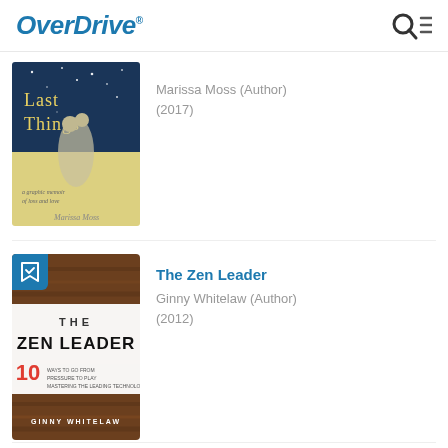OverDrive
[Figure (screenshot): Book cover for 'Last Things' by Marissa Moss – dark blue starry sky top, couple embracing, yellow/cream lower half]
Marissa Moss (Author)
(2017)
[Figure (screenshot): Book cover for 'The Zen Leader' by Ginny Whitelaw – wood-grain brown background with bold black and white title text]
The Zen Leader
Ginny Whitelaw (Author)
(2012)
[Figure (screenshot): Book cover for 'Tiny Buddha' – red background with title text, partially visible]
Tiny Buddha